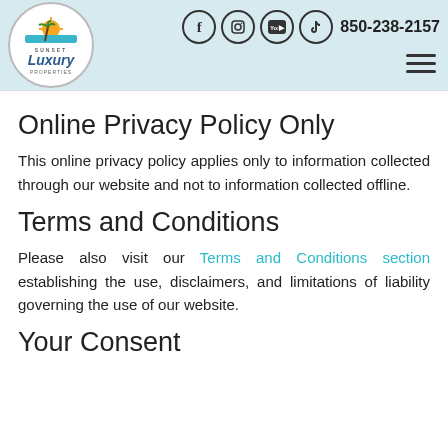Sunset Luxury Properties | 850-238-2157
Online Privacy Policy Only
This online privacy policy applies only to information collected through our website and not to information collected offline.
Terms and Conditions
Please also visit our Terms and Conditions section establishing the use, disclaimers, and limitations of liability governing the use of our website.
Your Consent